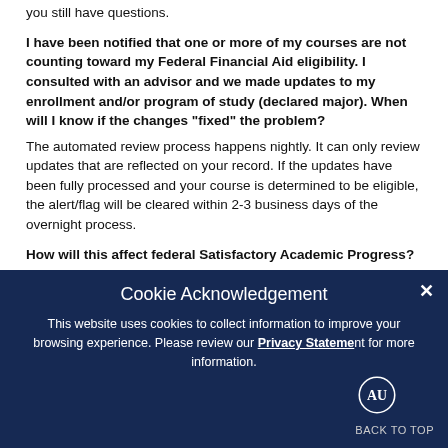you still have questions.
I have been notified that one or more of my courses are not counting toward my Federal Financial Aid eligibility. I consulted with an advisor and we made updates to my enrollment and/or program of study (declared major). When will I know if the changes “fixed” the problem?
The automated review process happens nightly. It can only review updates that are reflected on your record. If the updates have been fully processed and your course is determined to be eligible, the alert/flag will be cleared within 2-3 business days of the overnight process.
How will this affect federal Satisfactory Academic Progress?
[Figure (screenshot): Cookie Acknowledgement modal overlay with dark navy background. Title: Cookie Acknowledgement. Body text: This website uses cookies to collect information to improve your browsing experience. Please review our Privacy Statement for more information. Close button (X) in upper right. Auburn University logo and BACK TO TOP link in lower right.]